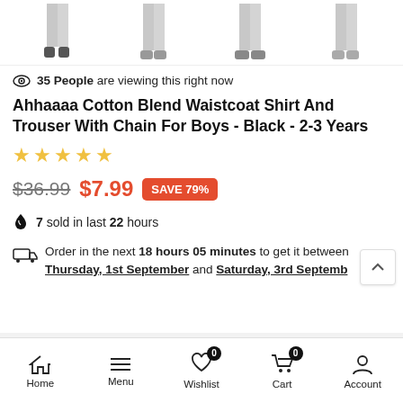[Figure (photo): Four product thumbnails showing boys trousers/pants from waist down against white background]
35 People are viewing this right now
Ahhaaaa Cotton Blend Waistcoat Shirt And Trouser With Chain For Boys - Black - 2-3 Years
Star rating: 0 out of 5 stars (empty stars)
$36.99  $7.99  SAVE 79%
7 sold in last 22 hours
Order in the next 18 hours 05 minutes to get it between Thursday, 1st September and Saturday, 3rd Septemb
Home  Menu  Wishlist (0)  Cart (0)  Account